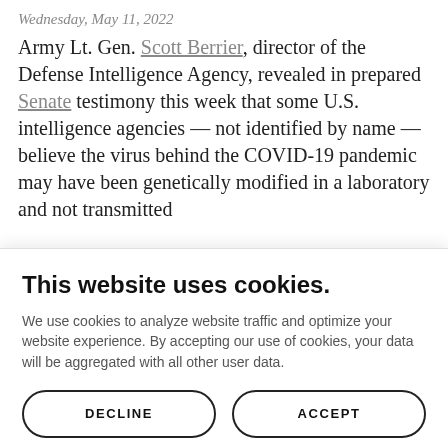Wednesday, May 11, 2022
Army Lt. Gen. Scott Berrier, director of the Defense Intelligence Agency, revealed in prepared Senate testimony this week that some U.S. intelligence agencies — not identified by name — believe the virus behind the COVID-19 pandemic may have been genetically modified in a laboratory and not transmitted
This website uses cookies.
We use cookies to analyze website traffic and optimize your website experience. By accepting our use of cookies, your data will be aggregated with all other user data.
DECLINE
ACCEPT